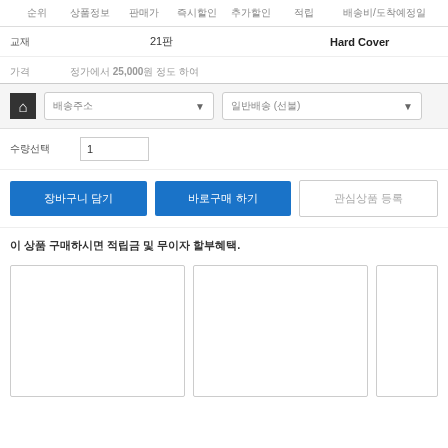| 순위 | 상품정보 | 판매가 | 즉시할인 | 추가할인 | 적립 | 배송비/도착예정일 |
| --- | --- | --- | --- | --- | --- | --- |
| 교재 |  | 21판 |  | Hard Cover |  |  |
| 가격 | 정가에서 25,000원 정도 하여 |
[Figure (screenshot): Delivery options UI with home icon, dropdown selects for shipping type and region, quantity input field, and action buttons]
이 상품 구매하시면 적립금 및 무이자 할부혜택.
[Figure (screenshot): Three product card placeholders shown as empty white boxes with borders]